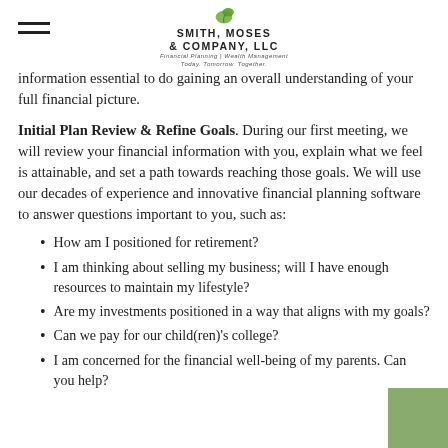Smith, Moses & Company, LLC — Financial Planning | Wealth Management
information essential to do gaining an overall understanding of your full financial picture.
Initial Plan Review & Refine Goals. During our first meeting, we will review your financial information with you, explain what we feel is attainable, and set a path towards reaching those goals. We will use our decades of experience and innovative financial planning software to answer questions important to you, such as:
How am I positioned for retirement?
I am thinking about selling my business; will I have enough resources to maintain my lifestyle?
Are my investments positioned in a way that aligns with my goals?
Can we pay for our child(ren)'s college?
I am concerned for the financial well-being of my parents. Can you help?